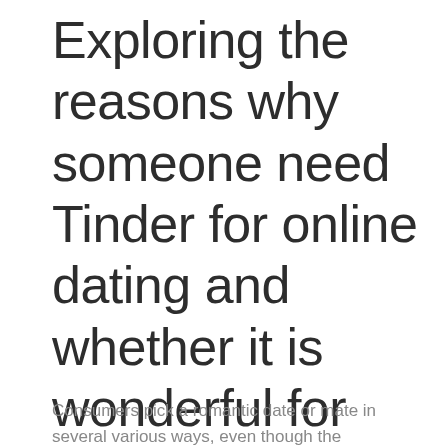Exploring the reasons why someone need Tinder for online dating and whether it is wonderful for you.
Consumers pick a romantic date or mate in several various ways, even though the